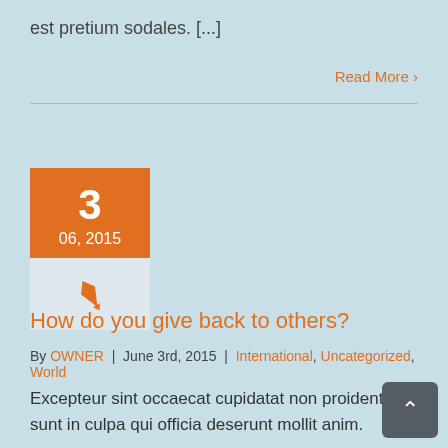est pretium sodales. [...]
Read More >
[Figure (infographic): Date badge showing day 3, month/year 06, 2015 with orange background, and a pen icon below on a light grey background]
How do you give back to others?
By OWNER | June 3rd, 2015 | International, Uncategorized, World
Excepteur sint occaecat cupidatat non proident, sunt in culpa qui officia deserunt mollit anim.